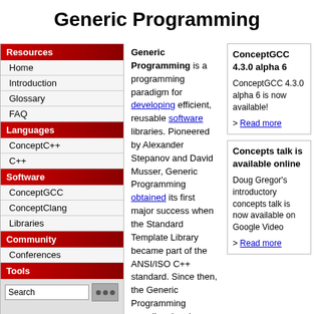Generic Programming
Resources
Home
Introduction
Glossary
FAQ
Languages
ConceptC++
C++
Software
ConceptGCC
ConceptClang
Libraries
Community
Conferences
Tools
Generic Programming is a programming paradigm for developing efficient, reusable software libraries. Pioneered by Alexander Stepanov and David Musser, Generic Programming obtained its first major success when the Standard Template Library became part of the ANSI/ISO C++ standard. Since then, the Generic Programming paradigm has been used to develop many generic libraries.
The Generic Programming process focuses on finding commonality among similar implementations
ConceptGCC 4.3.0 alpha 6

ConceptGCC 4.3.0 alpha 6 is now available!

> Read more
Concepts talk is available online

Doug Gregor's introductory concepts talk is now available on Google Video

> Read more